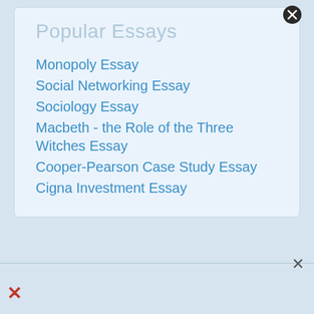Popular Essays
Monopoly Essay
Social Networking Essay
Sociology Essay
Macbeth - the Role of the Three Witches Essay
Cooper-Pearson Case Study Essay
Cigna Investment Essay